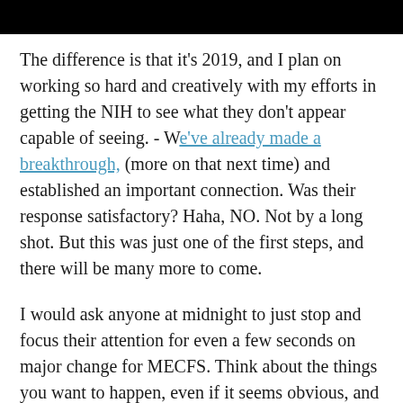[Figure (other): Black bar at top of page, partially cropped image header]
The difference is that it's 2019, and I plan on working so hard and creatively with my efforts in getting the NIH to see what they don't appear capable of seeing. - We've already made a breakthrough, (more on that next time) and established an important connection. Was their response satisfactory? Haha, NO. Not by a long shot. But this was just one of the first steps, and there will be many more to come.
I would ask anyone at midnight to just stop and focus their attention for even a few seconds on major change for MECFS. Think about the things you want to happen, even if it seems obvious, and send it out into the world. Maybe the desperate changes we need will converge somewhere in the universe, meet over